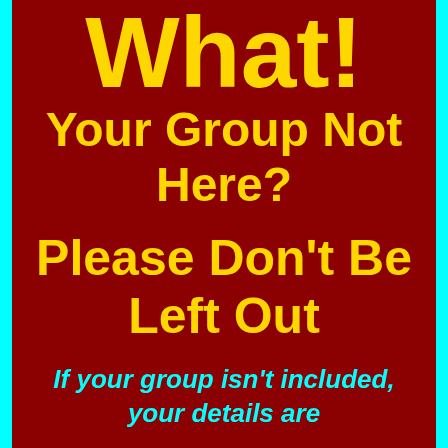What!
Your Group Not Here?
Please Don't Be Left Out
If your group isn't included, your details are